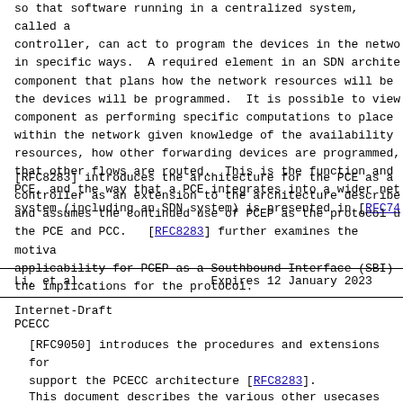so that software running in a centralized system, called a controller, can act to program the devices in the network in specific ways. A required element in an SDN architecture component that plans how the network resources will be used and the devices will be programmed. It is possible to view this component as performing specific computations to place traffic within the network given knowledge of the availability of the resources, how other forwarding devices are programmed, and how that other flows are routed. This is the function and scope of the PCE, and the way that a PCE integrates into a wider networking system (including an SDN system) is presented in [RFC7399].
[RFC8283] introduces the architecture for the PCE as a central controller as an extension to the architecture described in [RFC4655] and assumes the continued use of PCEP as the protocol used between the PCE and PCC. [RFC8283] further examines the motivation and applicability for PCEP as a Southbound Interface (SBI) and identifies the implications for the protocol.
Li, et al.                   Expires 12 January 2023
Internet-Draft                                         PCECC
[RFC9050] introduces the procedures and extensions for PCEP to support the PCECC architecture [RFC8283].
This document describes the various other usecases for